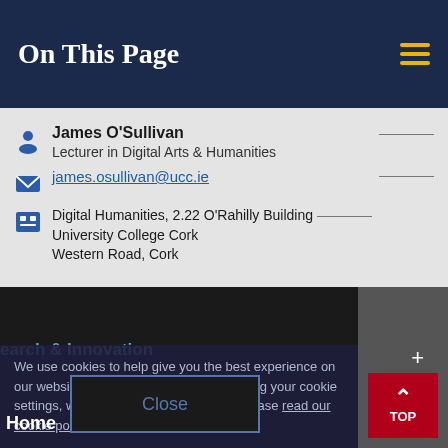On This Page
James O'Sullivan
Lecturer in Digital Arts & Humanities
james.osullivan@ucc.ie
Digital Humanities, 2.22 O'Rahilly Building
University College Cork
Western Road, Cork
ools & Departments
iness & Enterprise
mni & Development
We use cookies to help give you the best experience on our website. By continuing without changing your cookie settings, we assume you agree to this. Please read our cookie policy to find out more.
Close
Home